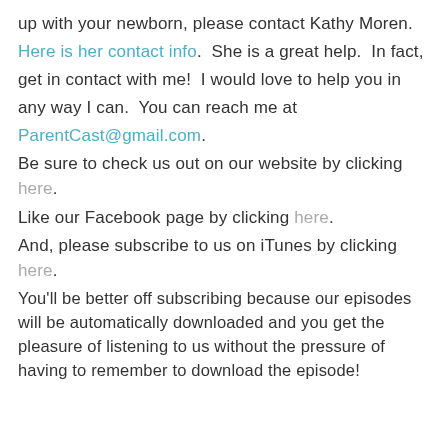up with your newborn, please contact Kathy Moren. Here is her contact info.  She is a great help.  In fact, get in contact with me!  I would love to help you in any way I can.  You can reach me at ParentCast@gmail.com.
Be sure to check us out on our website by clicking here.
Like our Facebook page by clicking here.
And, please subscribe to us on iTunes by clicking here.
You'll be better off subscribing because our episodes will be automatically downloaded and you get the pleasure of listening to us without the pressure of having to remember to download the episode!